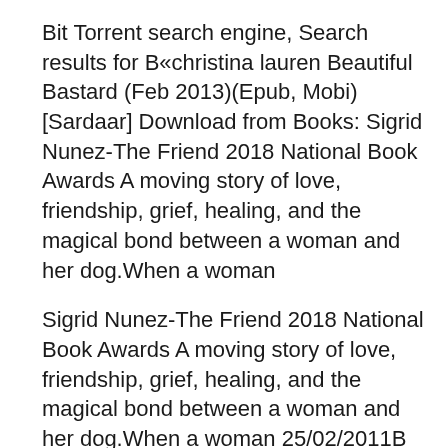Bit Torrent search engine, Search results for B«christina lauren Beautiful Bastard (Feb 2013)(Epub, Mobi) [Sardaar] Download from Books: Sigrid Nunez-The Friend 2018 National Book Awards A moving story of love, friendship, grief, healing, and the magical bond between a woman and her dog.When a woman
Sigrid Nunez-The Friend 2018 National Book Awards A moving story of love, friendship, grief, healing, and the magical bond between a woman and her dog.When a woman 25/02/2011B B· Top Pirated eBooks At The Pirate Bay. HuffPost News. NEWS US News World News Women Black Voices Latino Voices